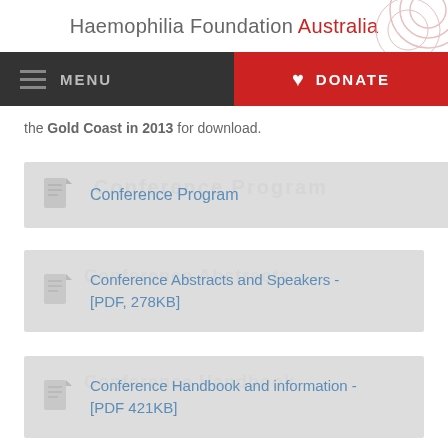Haemophilia Foundation Australia
the Gold Coast in 2013 for download.
Conference Program
Conference Abstracts and Speakers - [PDF, 278KB]
Conference Handbook and information - [PDF 421KB]